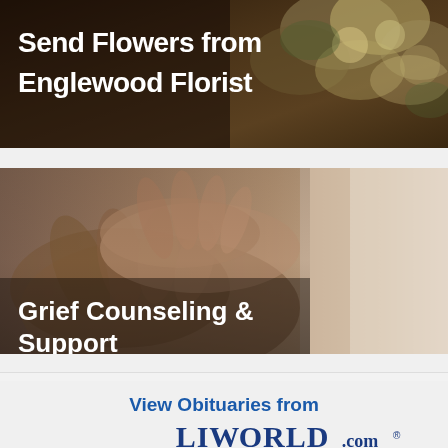[Figure (photo): Banner image showing colorful floral arrangement with text overlay 'Send Flowers from Englewood Florist']
[Figure (photo): Banner image showing hands clasped together in comfort/support gesture with text overlay 'Grief Counseling & Support']
[Figure (infographic): Light gray banner section with text 'View Obituaries from LIWorld.com']